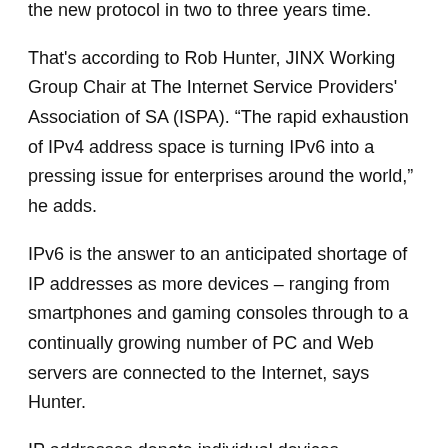the new protocol in two to three years time.
That's according to Rob Hunter, JINX Working Group Chair at The Internet Service Providers' Association of SA (ISPA). “The rapid exhaustion of IPv4 address space is turning IPv6 into a pressing issue for enterprises around the world,” he adds.
IPv6 is the answer to an anticipated shortage of IP addresses as more devices – ranging from smartphones and gaming consoles through to a continually growing number of PC and Web servers are connected to the Internet, says Hunter.
IP addresses denote individual devices connected to the Internet, from Web servers through to PCs, and as such underpin all online communications, from Web and email, to instant messaging, voice and video. The IPv4 address scheme is based on 32-bit addresses and